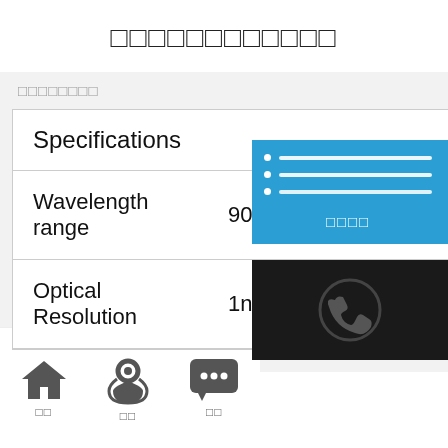□□□□□□□□□□□□
□□□□□□□□
| Specifications |  |
| --- | --- |
| Wavelength range | 900-1700nm |
| Optical Resolution | 1nm |
[Figure (screenshot): Blue dropdown menu overlay with list icon and tofu characters]
[Figure (photo): Dark background with phone/call icon]
□□  □□  □□